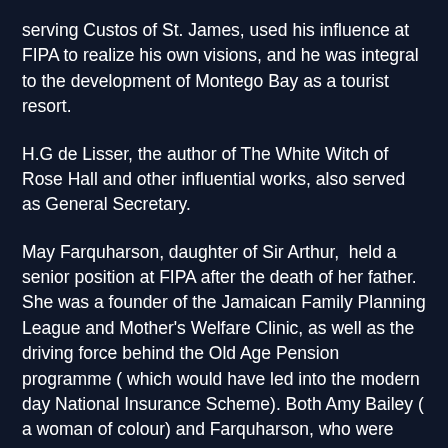serving Custos of St. James, used his influence at FIPA to realize his own visions, and he was integral to the development of Montego Bay as a tourist resort.
H.G de Lisser, the author of The White Witch of Rose Hall and other influential works, also served as General Secretary.
May Farquharson, daughter of Sir Arthur,  held a senior position at FIPA after the death of her father. She was a founder of the Jamaican Family Planning League and Mother's Welfare Clinic, as well as the driving force behind the Old Age Pension programme ( which would have led into the modern day National Insurance Scheme). Both Amy Bailey ( a woman of colour) and Farquharson, who were firm friends, addressed issues of prejudice based on their skin colour, in the recognition that women with darker skin, regardless of their racial composition,